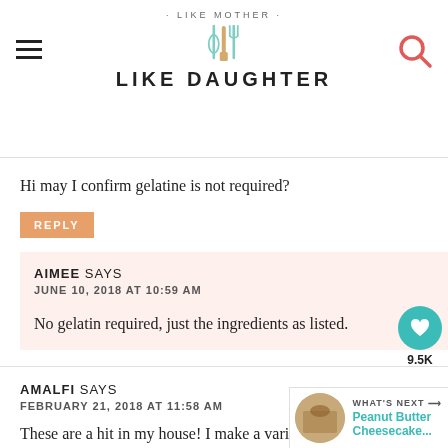LIKE MOTHER LIKE DAUGHTER
Hi may I confirm gelatine is not required?
REPLY
AIMEE SAYS
JUNE 10, 2018 AT 10:59 AM
No gelatin required, just the ingredients as listed.
AMALFI SAYS
FEBRUARY 21, 2018 AT 11:58 AM
These are a hit in my house! I make a variety using mini muffin tins and regular size. The mini ones are perfect size for